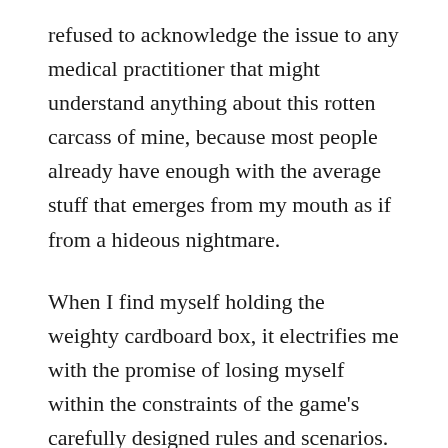refused to acknowledge the issue to any medical practitioner that might understand anything about this rotten carcass of mine, because most people already have enough with the average stuff that emerges from my mouth as if from a hideous nightmare.
When I find myself holding the weighty cardboard box, it electrifies me with the promise of losing myself within the constraints of the game's carefully designed rules and scenarios. For those that possess my technical mindset, these games are like drugs with waning addictive properties. I always end up getting bored of setting them up then playing against myself. After all, such games need to compete against the rapture that rubbing my clit elicits, and not even the sharpest minds